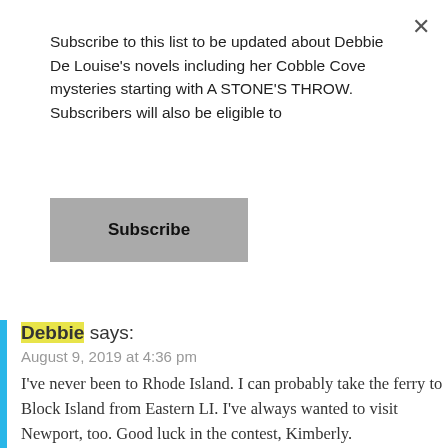Subscribe to this list to be updated about Debbie De Louise's novels including her Cobble Cove mysteries starting with A STONE'S THROW. Subscribers will also be eligible to
Subscribe
Debbie says:
August 9, 2019 at 4:36 pm
I've never been to Rhode Island. I can probably take the ferry to Block Island from Eastern LI. I've always wanted to visit Newport, too. Good luck in the contest, Kimberly.
★ Like
Reply